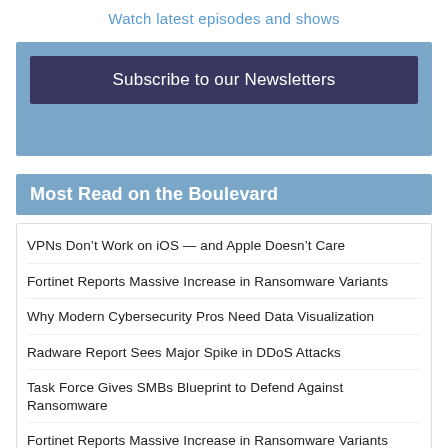Watch latest episodes and shows
Subscribe to our Newsletters
Most Read on the Boulevard
VPNs Don’t Work on iOS — and Apple Doesn’t Care
Fortinet Reports Massive Increase in Ransomware Variants
Why Modern Cybersecurity Pros Need Data Visualization
Radware Report Sees Major Spike in DDoS Attacks
Task Force Gives SMBs Blueprint to Defend Against Ransomware
Fortinet Reports Massive Increase in Ransomware Variants
Radware Report Sees Major Spike in DDoS Attacks